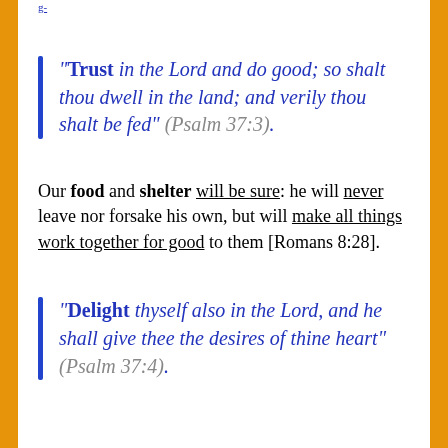g-
“Trust in the Lord and do good; so shalt thou dwell in the land; and verily thou shalt be fed” (Psalm 37:3).
Our food and shelter will be sure: he will never leave nor forsake his own, but will make all things work together for good to them [Romans 8:28].
“Delight thyself also in the Lord, and he shall give thee the desires of thine heart” (Psalm 37:4).